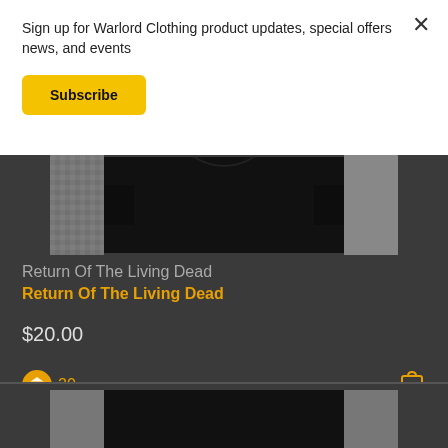Sign up for Warlord Clothing product updates, special offers news, and events
Subscribe
[Figure (photo): Black t-shirt hanging against a concrete wall background, dark monochrome image]
Return Of The Living Dead
Return Of The Living Dead
$20.00
20
[Figure (photo): Partial view of another product image, dark monochrome, bottom of screen]